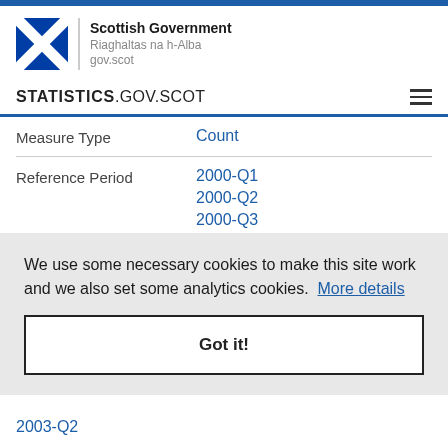[Figure (logo): Scottish Government logo with Saltire flag and text: Scottish Government, Riaghaltas na h-Alba, gov.scot]
STATISTICS.GOV.SCOT
| Measure Type | Count |
| Reference Period | 2000-Q1
2000-Q2
2000-Q3
2000-Q4 |
We use some necessary cookies to make this site work and we also set some analytics cookies. More details
Got it!
2003-Q2